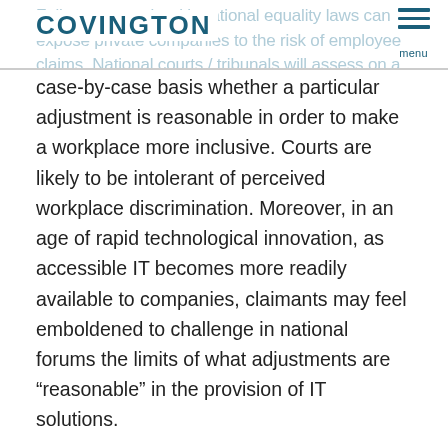Failure to comply with national equality laws can expose private companies to the risk of employee claims. National courts / tribunals will assess on a case-by-case basis whether a particular adjustment is reasonable in order to make a workplace more inclusive. COVINGTON menu
case-by-case basis whether a particular adjustment is reasonable in order to make a workplace more inclusive. Courts are likely to be intolerant of perceived workplace discrimination. Moreover, in an age of rapid technological innovation, as accessible IT becomes more readily available to companies, claimants may feel emboldened to challenge in national forums the limits of what adjustments are “reasonable” in the provision of IT solutions.
Increased regulatory pressure on businesses is inevitable. As of February 2018, 175 countries have ratified the CRPD, which recognizes accessibility of IT as a right in itself (Article 9) and also as an